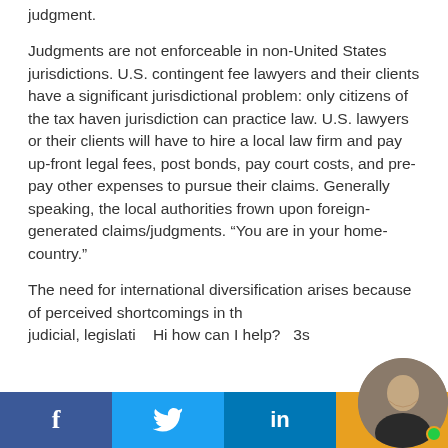judgment.
Judgments are not enforceable in non-United States jurisdictions. U.S. contingent fee lawyers and their clients have a significant jurisdictional problem: only citizens of the tax haven jurisdiction can practice law. U.S. lawyers or their clients will have to hire a local law firm and pay up-front legal fees, post bonds, pay court costs, and pre-pay other expenses to pursue their claims. Generally speaking, the local authorities frown upon foreign-generated claims/judgments. “You are in your home-country.”
The need for international diversification arises because of perceived shortcomings in th judicial, legislati
f  [Twitter bird]  in  [orange section with avatar]